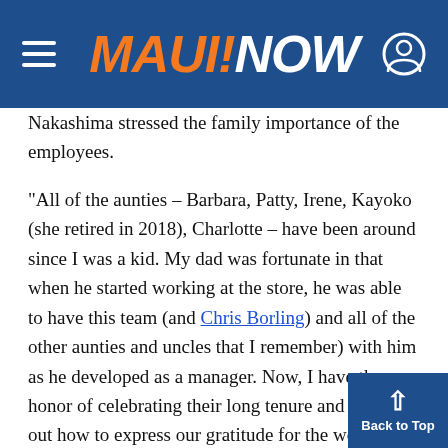MAUI NOW
Nakashima stressed the family importance of the employees.
“All of the aunties – Barbara, Patty, Irene, Kayoko (she retired in 2018), Charlotte – have been around since I was a kid. My dad was fortunate in that when he started working at the store, he was able to have this team (and Chris Borling) and all of the other aunties and uncles that I remember) with him as he developed as a manager. Now, I have the honor of celebrating their long tenure and figuring out how to express our gratitude for the work they’ve put in.”
Patty said what she will miss most is the cama… “But I won’t miss getting up at 3:30 a.m.”